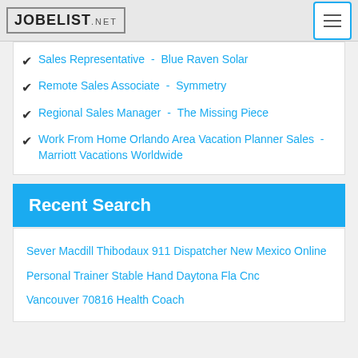JOBELIST.NET
Sales Representative - Blue Raven Solar
Remote Sales Associate - Symmetry
Regional Sales Manager - The Missing Piece
Work From Home Orlando Area Vacation Planner Sales - Marriott Vacations Worldwide
Recent Search
Sever Macdill Thibodaux 911 Dispatcher New Mexico Online
Personal Trainer Stable Hand Daytona Fla Cnc
Vancouver 70816 Health Coach